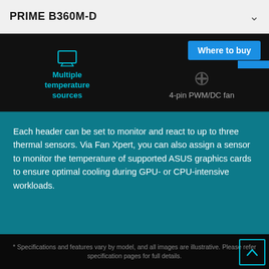PRIME B360M-D
Where to buy
Multiple temperature sources
4-pin PWM/DC fan
Each header can be set to monitor and react to up to three thermal sensors. Via Fan Xpert, you can also assign a sensor to monitor the temperature of supported ASUS graphics cards to ensure optimal cooling during GPU- or CPU-intensive workloads.
* Specifications and features vary by model, and all images are illustrative. Please refer specification pages for full details.